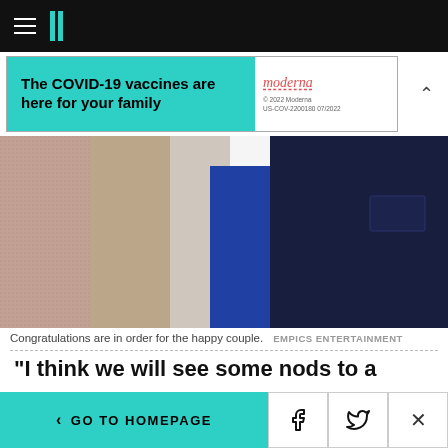HuffPost navigation bar with hamburger menu and logo
[Figure (other): Advertisement banner: 'The COVID-19 vaccines are here for your family' with Moderna logo]
[Figure (photo): Close-up photo of people in clothing — pink fabric, beige, blue and dark navy suit jacket]
Congratulations are in order for the happy couple. EMPICS ENTERTAINMENT
“I think we will see some nods to a more American spirit in some part of the name. I’m not saying it would be the first name, but in one of the given names, at least, they’re going to honor
< GO TO HOMEPAGE  [Facebook] [Twitter] [X]